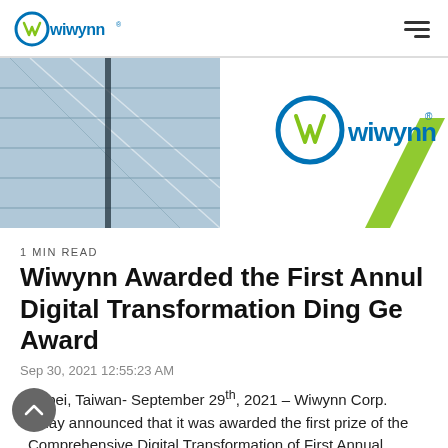wiwynn [logo] [hamburger menu]
[Figure (photo): Hero banner showing glass building facade with diagonal architectural lines on the left, and a large Wiwynn logo with a green diagonal slash accent on the right, on a white background.]
1 MIN READ
Wiwynn Awarded the First Annul Digital Transformation Ding Ge Award
Sep 30, 2021 12:55:23 AM
Taipei, Taiwan- September 29th, 2021 – Wiwynn Corp. today announced that it was awarded the first prize of the Comprehensive Digital Transformation of First Annual Digital